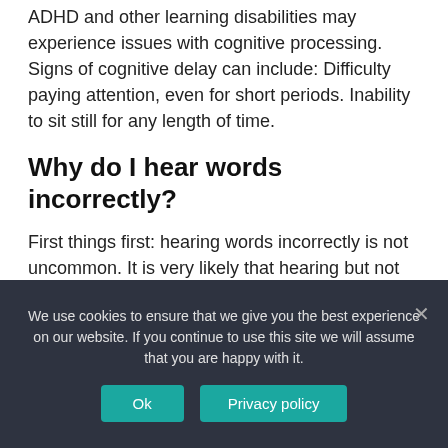ADHD and other learning disabilities may experience issues with cognitive processing. Signs of cognitive delay can include: Difficulty paying attention, even for short periods. Inability to sit still for any length of time.
Why do I hear words incorrectly?
First things first: hearing words incorrectly is not uncommon. It is very likely that hearing but not understanding words is due to a
We use cookies to ensure that we give you the best experience on our website. If you continue to use this site we will assume that you are happy with it.